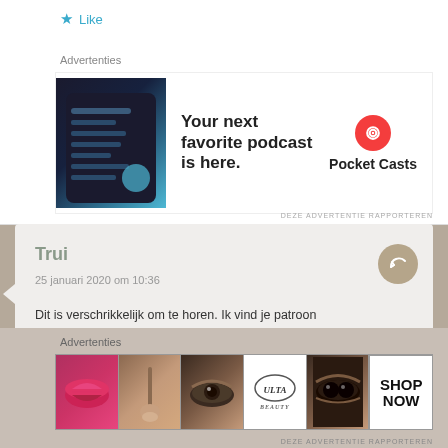★ Like
Advertenties
[Figure (infographic): Advertisement for Pocket Casts podcast app showing app screenshots on dark background with text 'Your next favorite podcast is here.' and Pocket Casts logo]
Trui
25 januari 2020 om 10:36
Dit is verschrikkelijk om te horen. Ik vind je patroon schitterend en was van plan om een pakket te kopen. Nu ik dit lees, ga ik het zeker maken als eerbetoon aan jouw kunde!
★ Like
Advertenties
[Figure (infographic): Ulta Beauty advertisement strip showing makeup images: lips with lipstick, makeup brush, eye with eyeshadow, Ulta Beauty logo, dramatic eye makeup, and SHOP NOW text]